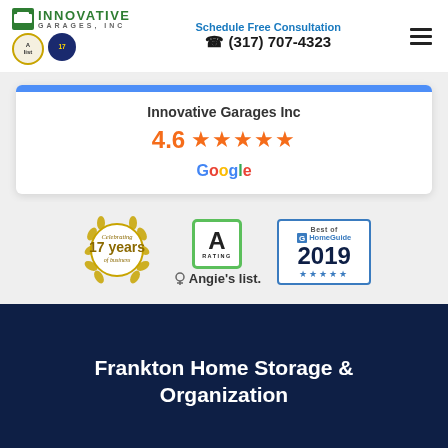[Figure (logo): Innovative Garages Inc logo with green icon and GARAGES INC text, Angie's List badge, 17-year badge]
Schedule Free Consultation
☎ (317) 707-4323
Innovative Garages Inc
4.6 ★★★★★
Google
[Figure (logo): Three badges: Celebrating 17 years of business wreath badge, Angie's List A Rating badge, Best of HomeGuide 2019 badge with stars]
Frankton Home Storage & Organization